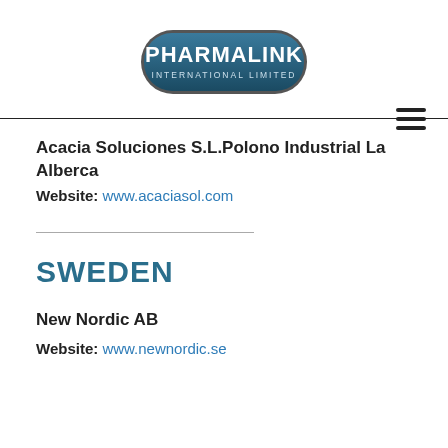[Figure (logo): Pharmalink International Limited logo — dark oval/pill shape with white text PHARMALINK and smaller text INTERNATIONAL LIMITED]
Acacia Soluciones S.L.Polono Industrial La Alberca
Website: www.acaciasol.com
SWEDEN
New Nordic AB
Website: www.newnordic.se